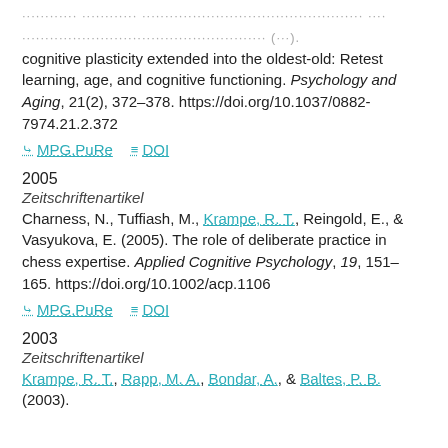cognitive plasticity extended into the oldest-old: Retest learning, age, and cognitive functioning. Psychology and Aging, 21(2), 372–378. https://doi.org/10.1037/0882-7974.21.2.372
MPG.PuRe   DOI
2005
Zeitschriftenartikel
Charness, N., Tuffiash, M., Krampe, R. T., Reingold, E., & Vasyukova, E. (2005). The role of deliberate practice in chess expertise. Applied Cognitive Psychology, 19, 151–165. https://doi.org/10.1002/acp.1106
MPG.PuRe   DOI
2003
Zeitschriftenartikel
Krampe, R. T., Rapp, M. A., Bondar, A., & Baltes, P. B. (2003).